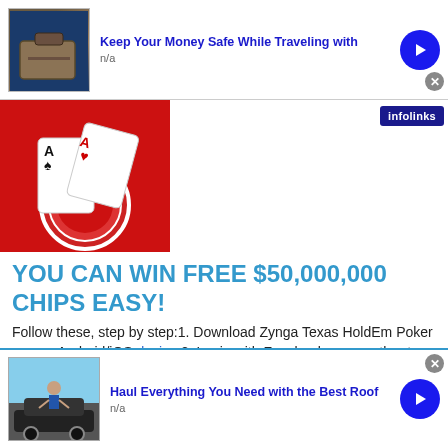[Figure (infographic): Ad banner: Keep Your Money Safe While Traveling with – image of luggage/money, blue arrow button, n/a subtext]
[Figure (photo): Poker chips and playing cards (Aces) on red background – Zynga Texas HoldEm Poker app icon style]
YOU CAN WIN FREE $50,000,000 CHIPS EASY!
Follow these, step by step:1. Download Zynga Texas HoldEm Poker on you Android/iOS device;2. Login with Facebook or any other type of account;3. Click on
Posted by  © 26 days ago  792  1
[Figure (infographic): Ad banner: Haul Everything You Need with the Best Roof – image of person on car, blue arrow button, n/a subtext]